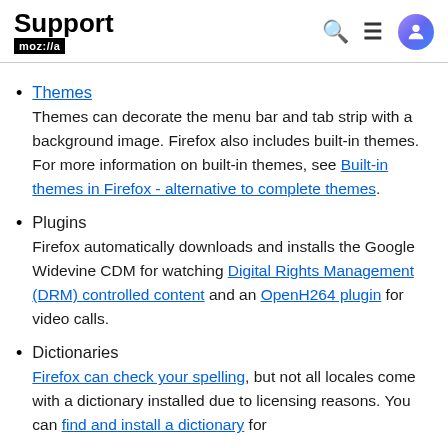Support moz://a
Themes
Themes can decorate the menu bar and tab strip with a background image. Firefox also includes built-in themes. For more information on built-in themes, see Built-in themes in Firefox - alternative to complete themes.
Plugins
Firefox automatically downloads and installs the Google Widevine CDM for watching Digital Rights Management (DRM) controlled content and an OpenH264 plugin for video calls.
Dictionaries
Firefox can check your spelling, but not all locales come with a dictionary installed due to licensing reasons. You can find and install a dictionary for